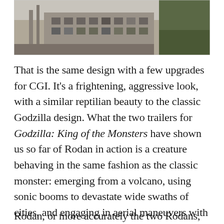[Figure (photo): Black and white photograph of a building with windows and structures, partially cropped at the top of the page]
That is the same design with a few upgrades for CGI. It’s a frightening, aggressive look, with a similar reptilian beauty to the classic Godzilla design. What the two trailers for Godzilla: King of the Monsters have shown us so far of Rodan in action is a creature behaving in the same fashion as the classic monster: emerging from a volcano, using sonic booms to devastate wide swaths of cities, and engaging in aerial maneuvers with hopelessly outmatched fighter jets.
Rodan, or more accurately the two Rodans,